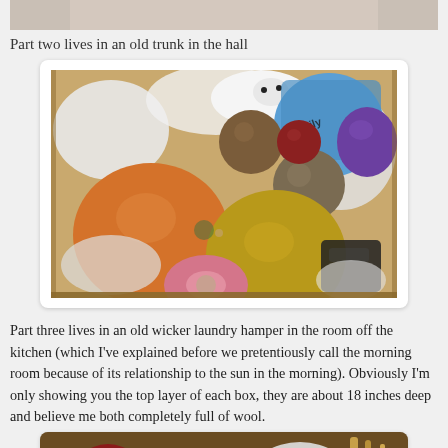[Figure (photo): Partial view of a yarn/wool storage box, top cropped]
Part two lives in an old trunk in the hall
[Figure (photo): A trunk filled with many balls and cones of yarn/wool in various colors: orange, mustard/yellow, dark green, brown, red, pink, blue, purple, and white bags]
Part three lives in an old wicker laundry hamper in the room off the kitchen (which I've explained before we pretentiously call the morning room because of its relationship to the sun in the morning). Obviously I'm only showing you the top layer of each box, they are about 18 inches deep and believe me both completely full of wool.
[Figure (photo): Partial view of a wicker laundry hamper filled with yarn/wool balls in red and other colors, partially visible at bottom of page]